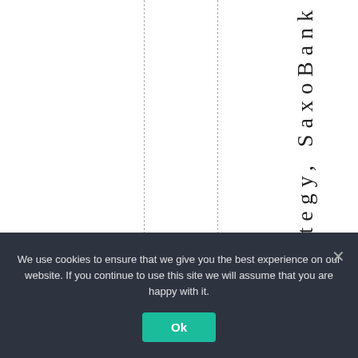[Figure (other): White page with two dashed vertical lines dividing the page into columns, and vertical rotated text reading 'Strategy, SaxoBank' in the rightmost column]
Strategy, SaxoBank
We use cookies to ensure that we give you the best experience on our website. If you continue to use this site we will assume that you are happy with it.